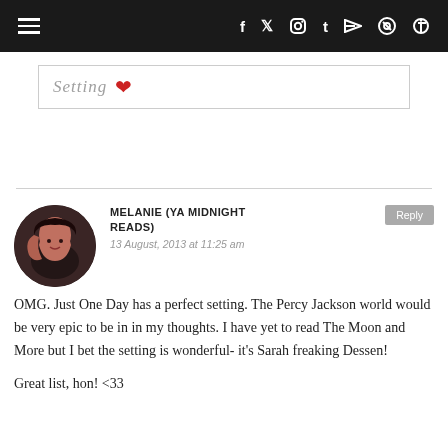≡  f  t  [instagram]  t  [youtube]  [search]
[Figure (screenshot): Partial blog post banner showing the word 'Setting' in italic grey text with a red heart symbol, inside a light bordered box]
MELANIE (YA MIDNIGHT READS)
13 August, 2013 at 11:25 am
OMG. Just One Day has a perfect setting. The Percy Jackson world would be very epic to be in in my thoughts. I have yet to read The Moon and More but I bet the setting is wonderful- it's Sarah freaking Dessen!

Great list, hon! <33